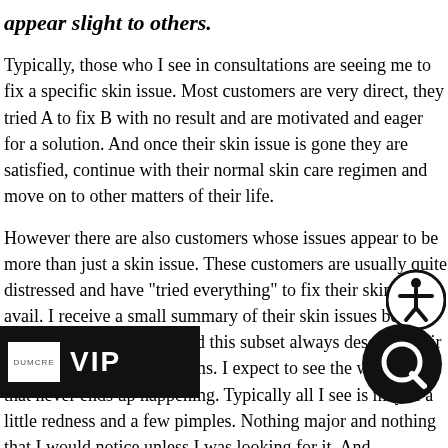appear slight to others.
Typically, those who I see in consultations are seeing me to fix a specific skin issue. Most customers are very direct, they tried A to fix B with no result and are motivated and eager for a solution. And once their skin issue is gone they are satisfied, continue with their normal skin care regimen and move on to other matters of their life.
However there are also customers whose issues appear to be more than just a skin issue. These customers are usually quite distressed and have "tried everything" to fix their skin to no avail. I receive a small summary of their skin issues before the consultation begins, and this subset always describe their skin in highly negative terms. I expect to see the worst, but that never ends up happening. Typically all I see is maybe a little redness and a few pimples. Nothing major and nothing that I would notice unless I was looking for it. And